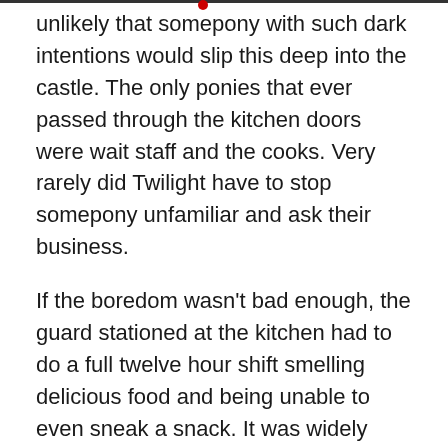unlikely that somepony with such dark intentions would slip this deep into the castle. The only ponies that ever passed through the kitchen doors were wait staff and the cooks. Very rarely did Twilight have to stop somepony unfamiliar and ask their business.
If the boredom wasn't bad enough, the guard stationed at the kitchen had to do a full twelve hour shift smelling delicious food and being unable to even sneak a snack. It was widely accepted by everypony to be the worst assignment for a day-shift guard.
She wasn't sure whether she'd pulled the short straw because she was new, or because she was being punished for her earlier mistake, but whatever the case, it wasn't much of stretch to imagine that she would be stuck on kitchen duty for a good while